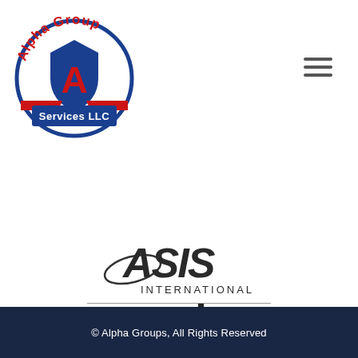[Figure (logo): Alpha Group Services LLC circular logo with blue shield, red letter A, red banner ribbons and text]
[Figure (logo): ASIS International member logo with italic swoosh graphic and bold ASIS INTERNATIONAL text above a horizontal rule, with bold 'member' text below]
© Alpha Groups, All Rights Reserved